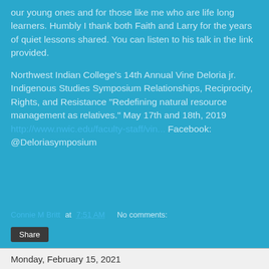our young ones and for those like me who are life long learners. Humbly I thank both Faith and Larry for the years of quiet lessons shared. You can listen to his talk in the link provided.
Northwest Indian College's 14th Annual Vine Deloria jr. Indigenous Studies Symposium Relationships, Reciprocity, Rights, and Resistance “Redefining natural resource management as relatives.” May 17th and 18th, 2019 http://www.nwic.edu/faculty-staff/vin... Facebook: @Deloriasymposium
Connie M Britt at 7:51 AM   No comments:
Share
Monday, February 15, 2021